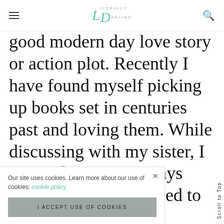Literally Darling (logo with hamburger menu and search icon)
good modern day love story or action plot. Recently I have found myself picking up books set in centuries past and loving them. While discussing with my sister, I realized that I've always loved these stories; [rced to
Our site uses cookies. Learn more about our use of cookies: cookie policy
I ACCEPT USE OF COOKIES
Scroll to Top